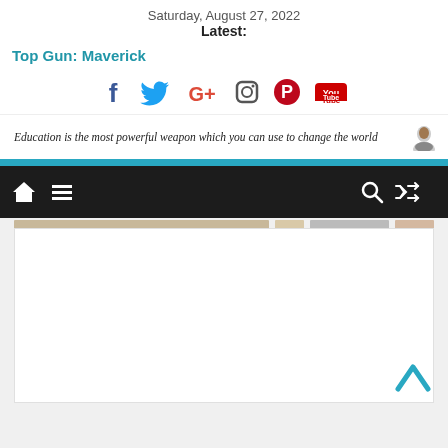Saturday, August 27, 2022
Latest:
Top Gun: Maverick
[Figure (infographic): Social media icons: Facebook, Twitter, Google+, Instagram, Pinterest, YouTube]
Education is the most powerful weapon which you can use to change the world
[Figure (infographic): Navigation bar with home icon, hamburger menu, search icon, and shuffle icon on dark background]
[Figure (screenshot): White content area with placeholder image strips at top, scroll-up arrow at bottom right]